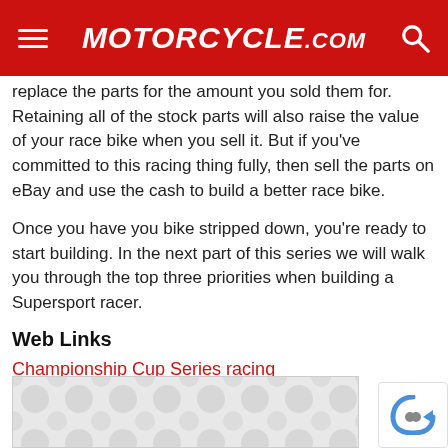Motorcycle.com
replace the parts for the amount you sold them for. Retaining all of the stock parts will also raise the value of your race bike when you sell it. But if you've committed to this racing thing fully, then sell the parts on eBay and use the cash to build a better race bike.
Once you have you bike stripped down, you're ready to start building. In the next part of this series we will walk you through the top three priorities when building a Supersport racer.
Web Links
Championship Cup Series racing
Lockhart Phillips race parts
Donnie Unger and Duc Pond Motorsports
Corse Velocita LLC, Mad Duc Ducati parts
Sharkskinz oil pans
[Figure (other): Advertisement banner with grey pattern circles background]